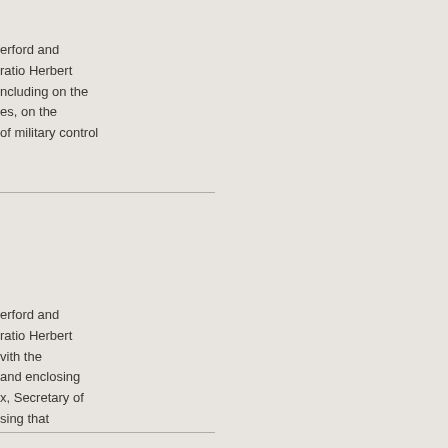erford and
ratio Herbert
ncluding on the
es, on the
of military control
erford and
ratio Herbert
vith the
and enclosing
x, Secretary of
sing that